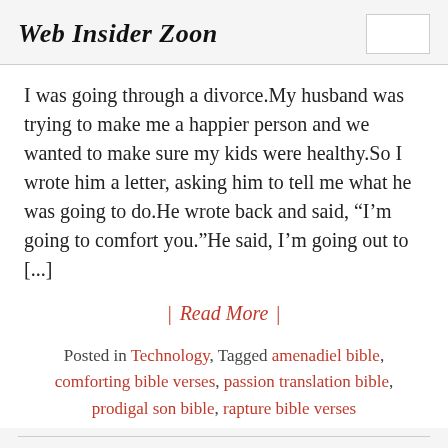Web Insider Zoon
I was going through a divorce.My husband was trying to make me a happier person and we wanted to make sure my kids were healthy.So I wrote him a letter, asking him to tell me what he was going to do.He wrote back and said, “I’m going to comfort you.”He said, I’m going out to [...]
| Read More |
Posted in Technology, Tagged amenadiel bible, comforting bible verses, passion translation bible, prodigal son bible, rapture bible verses
Lazarus Bible Study: New